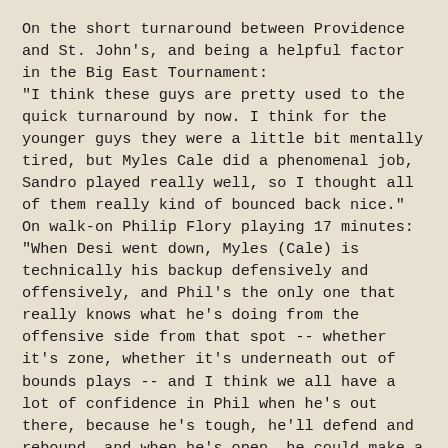On the short turnaround between Providence and St. John's, and being a helpful factor in the Big East Tournament: "I think these guys are pretty used to the quick turnaround by now. I think for the younger guys they were a little bit mentally tired, but Myles Cale did a phenomenal job, Sandro played really well, so I thought all of them really kind of bounced back nice." On walk-on Philip Flory playing 17 minutes: "When Desi went down, Myles (Cale) is technically his backup defensively and offensively, and Phil's the only one that really knows what he's doing from the offensive side from that spot -- whether it's zone, whether it's underneath out of bounds plays -- and I think we all have a lot of confidence in Phil when he's out there, because he's tough, he'll defend and rebound, and when he's open, he could make a shot."